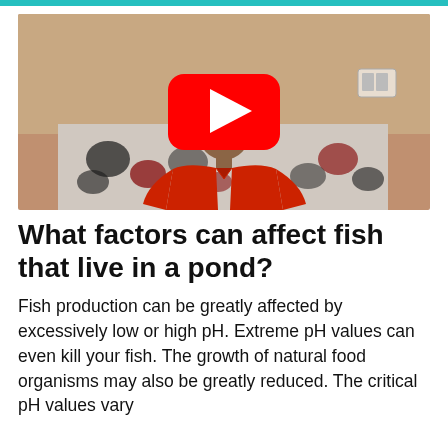[Figure (screenshot): YouTube video thumbnail showing a man in a red shirt seated on a sofa with a patterned fabric background. A YouTube play button (red rounded rectangle with white triangle) is overlaid in the center.]
What factors can affect fish that live in a pond?
Fish production can be greatly affected by excessively low or high pH. Extreme pH values can even kill your fish. The growth of natural food organisms may also be greatly reduced. The critical pH values vary